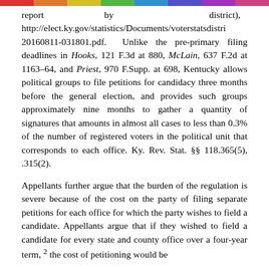report by district), http://elect.ky.gov/statistics/Documents/voterstatsdistri 20160811-031801.pdf. Unlike the pre-primary filing deadlines in Hooks, 121 F.3d at 880, McLain, 637 F.2d at 1163-64, and Priest, 970 F.Supp. at 698, Kentucky allows political groups to file petitions for candidacy three months before the general election, and provides such groups approximately nine months to gather a quantity of signatures that amounts in almost all cases to less than 0.3% of the number of registered voters in the political unit that corresponds to each office. Ky. Rev. Stat. §§ 118.365(5), .315(2).
Appellants further argue that the burden of the regulation is severe because of the cost on the party of filing separate petitions for each office for which the party wishes to field a candidate. Appellants argue that if they wished to field a candidate for every state and county office over a four-year term, 2 the cost of petitioning would be